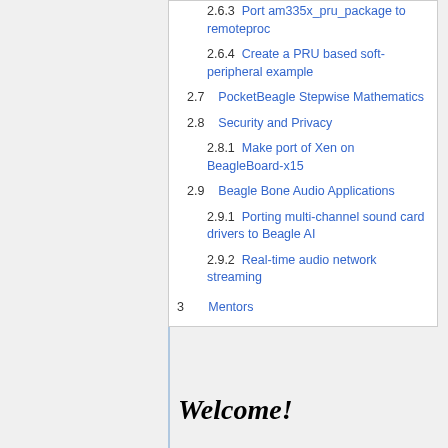2.6.3 Port am335x_pru_package to remoteproc
2.6.4 Create a PRU based soft-peripheral example
2.7 PocketBeagle Stepwise Mathematics
2.8 Security and Privacy
2.8.1 Make port of Xen on BeagleBoard-x15
2.9 Beagle Bone Audio Applications
2.9.1 Porting multi-channel sound card drivers to Beagle AI
2.9.2 Real-time audio network streaming
3 Mentors
Welcome!